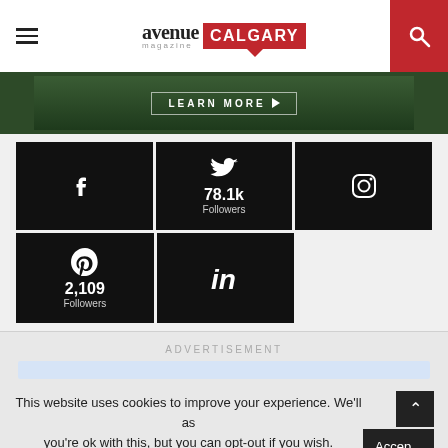avenue magazine CALGARY
[Figure (photo): Dark green forest/trees banner with LEARN MORE button and arrow]
[Figure (infographic): Social media follow panel: Facebook icon; Twitter 78.1k Followers; Instagram icon; Pinterest 2,109 Followers; LinkedIn icon]
ADVERTISEMENT
This website uses cookies to improve your experience. We'll as you're ok with this, but you can opt-out if you wish.
Privacy Policy